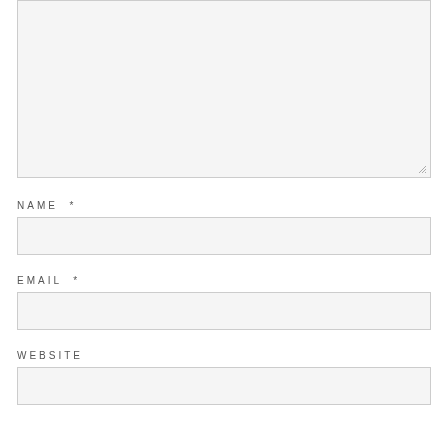[Figure (screenshot): A textarea form field with a light gray background and thin border, showing a resize handle at bottom-right]
NAME *
[Figure (screenshot): A single-line text input field for NAME with light gray background and thin border]
EMAIL *
[Figure (screenshot): A single-line text input field for EMAIL with light gray background and thin border]
WEBSITE
[Figure (screenshot): A single-line text input field for WEBSITE with light gray background and thin border]